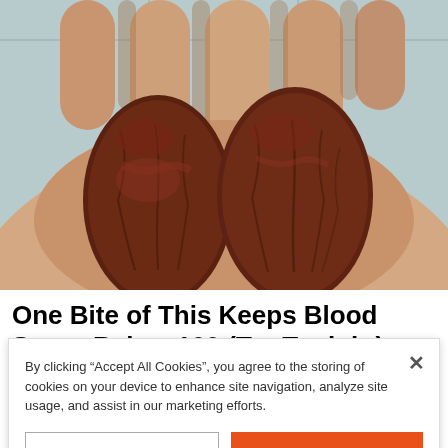[Figure (photo): Close-up photo of two large dark brown Medjool dates resting in the palm of a hand, against a light tiled background.]
One Bite of This Keeps Blood Sugar Below 100 (Try Tonight)
By clicking “Accept All Cookies”, you agree to the storing of cookies on your device to enhance site navigation, analyze site usage, and assist in our marketing efforts.